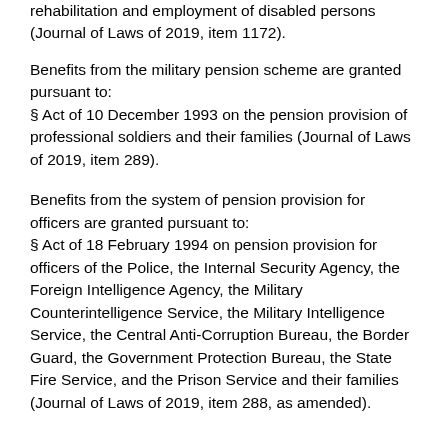rehabilitation and employment of disabled persons (Journal of Laws of 2019, item 1172).
Benefits from the military pension scheme are granted pursuant to:
§ Act of 10 December 1993 on the pension provision of professional soldiers and their families (Journal of Laws of 2019, item 289).
Benefits from the system of pension provision for officers are granted pursuant to:
§ Act of 18 February 1994 on pension provision for officers of the Police, the Internal Security Agency, the Foreign Intelligence Agency, the Military Counterintelligence Service, the Military Intelligence Service, the Central Anti-Corruption Bureau, the Border Guard, the Government Protection Bureau, the State Fire Service, and the Prison Service and their families (Journal of Laws of 2019, item 288, as amended).